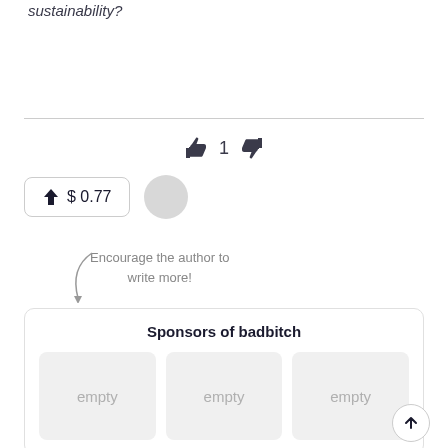sustainability?
[Figure (other): Thumbs up icon, vote count of 1, thumbs down icon for article rating]
[Figure (other): Tip button showing upward arrow and $0.77, with a circular avatar placeholder]
Encourage the author to write more!
Sponsors of badbitch
[Figure (other): Three empty sponsor placeholder boxes labeled 'empty']
[Figure (other): Back to top arrow button]